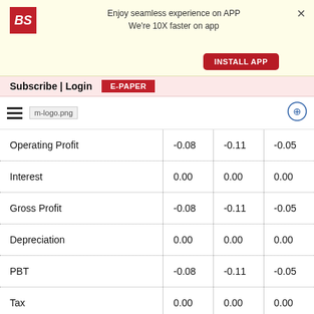[Figure (screenshot): Business Standard app install banner with BS logo, text 'Enjoy seamless experience on APP We're 10X faster on app', INSTALL APP button, and close X]
Subscribe | Login  E-PAPER
[Figure (logo): Hamburger menu icon, m-logo.png placeholder, and circular add icon on right]
| Operating Profit | -0.08 | -0.11 | -0.05 |
| Interest | 0.00 | 0.00 | 0.00 |
| Gross Profit | -0.08 | -0.11 | -0.05 |
| Depreciation | 0.00 | 0.00 | 0.00 |
| PBT | -0.08 | -0.11 | -0.05 |
| Tax | 0.00 | 0.00 | 0.00 |